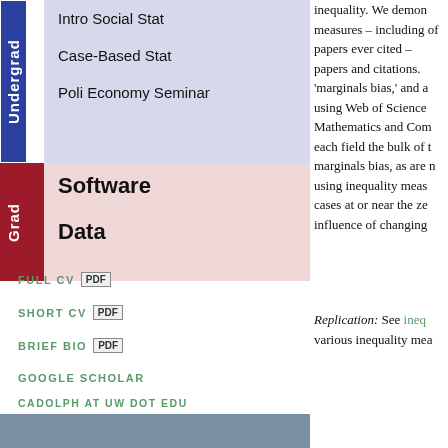| Category | Course/Item |
| --- | --- |
| Undergrad | Intro Social Stat |
| Undergrad | Case-Based Stat |
| Undergrad | Poli Economy Seminar |
| Grad | Software |
| Grad | Data |
FULL CV  PDF
SHORT CV  PDF
BRIEF BIO  PDF
GOOGLE SCHOLAR
CADOLPH AT UW DOT EDU
[Figure (photo): A gray-blue photographic image at the bottom of the left column]
inequality. We demon measures – including of papers ever cited – papers and citations. 'marginals bias,' and a using Web of Science Mathematics and Com each field the bulk of t marginals bias, as are n using inequality meas cases at or near the ze influence of changing
Replication: See ineq various inequality mea